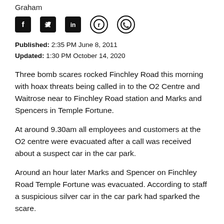Graham
[Figure (infographic): Social media share icons: Facebook, Twitter, LinkedIn, Reddit, WhatsApp]
Published: 2:35 PM June 8, 2011
Updated: 1:30 PM October 14, 2020
Three bomb scares rocked Finchley Road this morning with hoax threats being called in to the O2 Centre and Waitrose near to Finchley Road station and Marks and Spencers in Temple Fortune.
At around 9.30am all employees and customers at the O2 centre were evacuated after a call was received about a suspect car in the car park.
Around an hour later Marks and Spencer on Finchley Road Temple Fortune was evacuated. According to staff a suspicious silver car in the car park had sparked the scare.